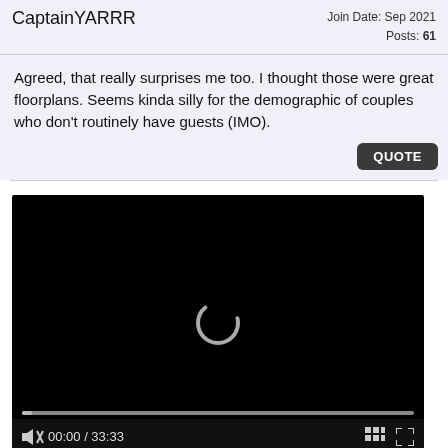CaptainYARRR | Join Date: Sep 2021 | Posts: 61
Agreed, that really surprises me too. I thought those were great floorplans. Seems kinda silly for the demographic of couples who don't routinely have guests (IMO).
[Figure (screenshot): Video player showing a black screen with a loading spinner in the center, a progress bar near the bottom, and controls showing mute icon, timestamp 00:00 / 33:33, a grid icon, and a fullscreen icon.]